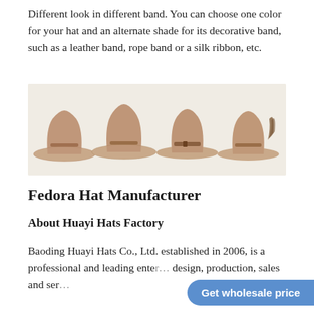Different look in different band. You can choose one color for your hat and an alternate shade for its decorative band, such as a leather band, rope band or a silk ribbon, etc.
[Figure (photo): Four cowboy/fedora style hats in beige/tan color displayed side by side on a light cream background, each with slightly different band styles.]
Fedora Hat Manufacturer
About Huayi Hats Factory
Baoding Huayi Hats Co., Ltd. established in 2006, is a professional and leading ente… design, production, sales and ser…
Get wholesale price